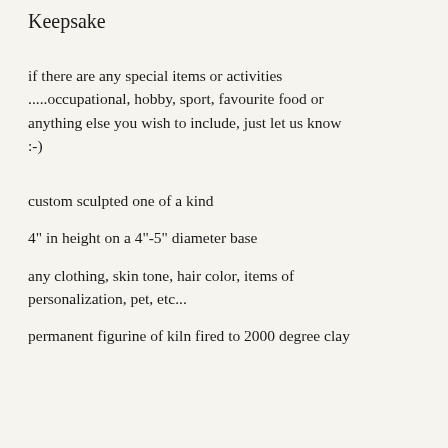Keepsake
if there are any special items or activities .....occupational, hobby, sport, favourite food or anything else you wish to include, just let us know :-)
custom sculpted one of a kind
4" in height on a 4"-5" diameter base
any clothing, skin tone, hair color, items of personalization, pet, etc...
permanent figurine of kiln fired to 2000 degree clay